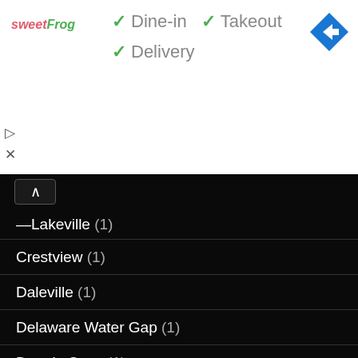[Figure (logo): sweetFrog logo in pink/green italic text]
✓ Dine-in  ✓ Takeout  ✓ Delivery
[Figure (illustration): Blue diamond navigation arrow icon]
[Figure (illustration): Play and close icons on left side]
Lakeville (1)
Continental Divide Trail (15)
Cots (1)
Crater Lake (2)
Crestview (1)
Daleville (1)
Delaware Water Gap (1)
Dennis Cove (1)
Documentary Films (1)
Dogs Ok (1)